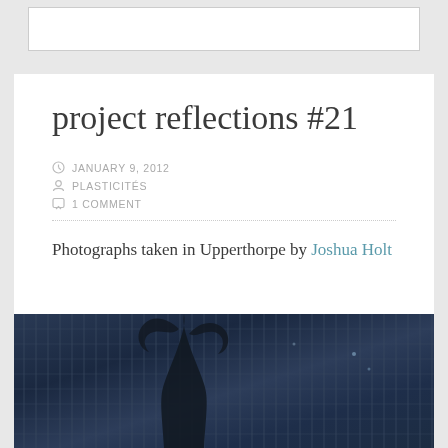project reflections #21
JANUARY 9, 2012
PLASTICITÉS
1 COMMENT
Photographs taken in Upperthorpe by Joshua Holt
[Figure (photo): Dark blue-toned photograph of a tree behind a metal fence/grid structure in Upperthorpe, foggy atmosphere]